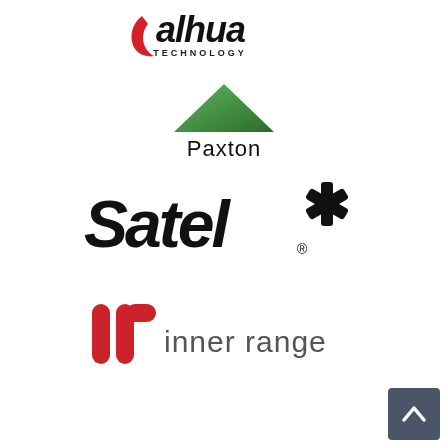[Figure (logo): Dahua Technology logo — stylized 'alhua' text with red swirl and 'TECHNOLOGY' subtitle]
[Figure (logo): Paxton logo — green downward-pointing triangle with 'Paxton' text below]
[Figure (logo): Satel logo — bold black italic 'Satel' text with a snowflake/asterisk star symbol and registered trademark]
[Figure (logo): Inner Range logo — red stylized 'ir' icon and 'inner range' text in grey]
[Figure (other): Dark grey scroll-to-top button with upward chevron arrow in bottom-right corner]